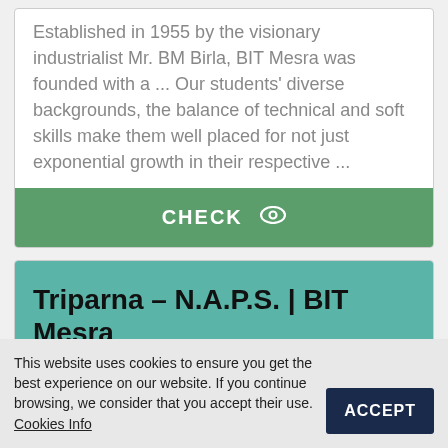Established in 1955 by the visionary industrialist Mr. BM Birla, BIT Mesra was founded with a … Our students' diverse backgrounds, the balance of technical and soft skills make them well placed for not just exponential growth in their respective …
CHECK
Triparna – N.A.P.S. | BIT Mesra
Down the Memory Lane with Suchismita Sarkar. As I am writing this, I have no idea
This website uses cookies to ensure you get the best experience on our website. If you continue browsing, we consider that you accept their use. Cookies Info
ACCEPT